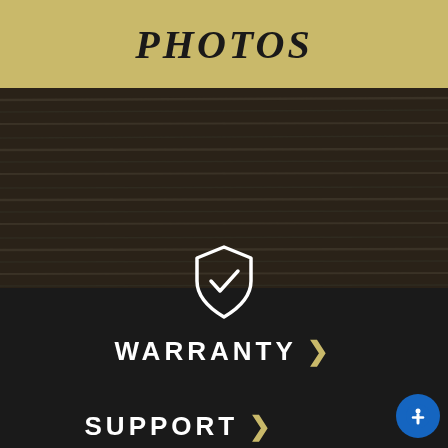PHOTOS
[Figure (illustration): Dark woodgrain textured background panel]
[Figure (illustration): Shield with checkmark icon in white outline]
WARRANTY >
SUPPORT >
[Figure (illustration): Accessibility icon button (person in circle) in blue]